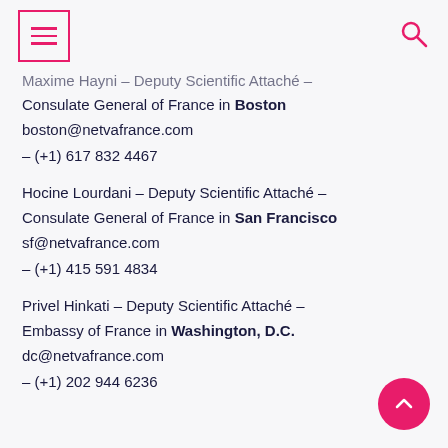[Menu icon] [Search icon]
Maxime Hayni – Deputy Scientific Attaché – Consulate General of France in Boston
boston@netvafrance.com
– (+1) 617 832 4467
Hocine Lourdani – Deputy Scientific Attaché – Consulate General of France in San Francisco
sf@netvafrance.com
– (+1) 415 591 4834
Privel Hinkati – Deputy Scientific Attaché – Embassy of France in Washington, D.C.
dc@netvafrance.com
– (+1) 202 944 6236